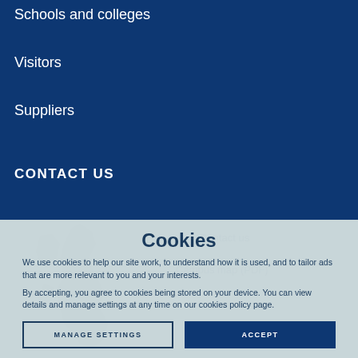Schools and colleges
Visitors
Suppliers
CONTACT US
Contact us
Campus map (PDF)
Cookies
We use cookies to help our site work, to understand how it is used, and to tailor ads that are more relevant to you and your interests.
By accepting, you agree to cookies being stored on your device. You can view details and manage settings at any time on our cookies policy page.
MANAGE SETTINGS
ACCEPT